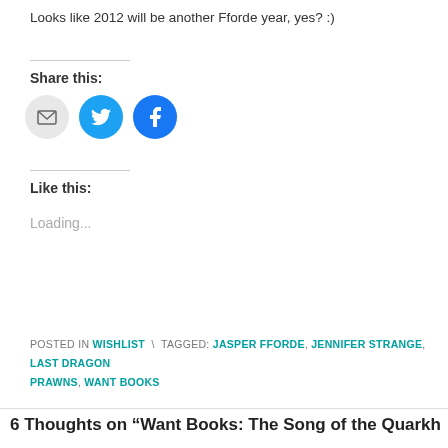Looks like 2012 will be another Fforde year, yes? :)
Share this:
[Figure (infographic): Three social sharing icon circles: email (grey), Twitter (blue bird), Facebook (blue f)]
Like this:
Loading...
POSTED IN WISHLIST \ TAGGED: JASPER FFORDE, JENNIFER STRANGE, LAST DRAGON PRAWNS, WANT BOOKS
6 Thoughts on “Want Books: The Song of the Quarkh